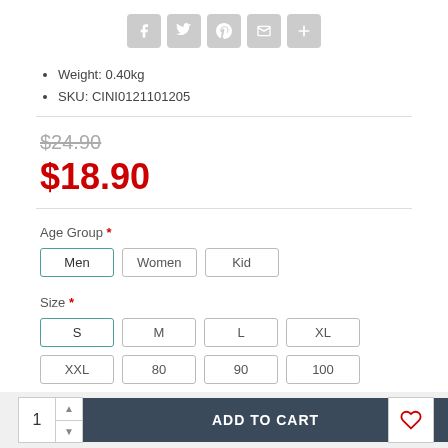[Figure (other): Social sharing icon buttons: Facebook, Twitter, Pinterest, Email, Plus]
Weight: 0.40kg
SKU: CINI0121101205
$24.90 (strikethrough original price)
$18.90 (sale price in red)
Age Group * — buttons: Men (selected), Women, Kid
Size * — buttons: S (selected), M, L, XL, XXL, 80, 90, 100, 110, 120
ADD TO CART — quantity: 1, wishlist heart button